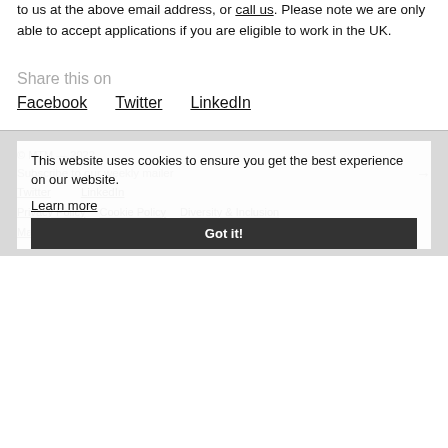to us at the above email address, or call us. Please note we are only able to accept applications if you are eligible to work in the UK.
Share this on
Facebook   Twitter   LinkedIn
© MTM — 2022   Subscribe to our weekly mailer →   Twitter   LinkedIn   Privacy Policy   Cookie Policy   Diversity & Inclusion Manifesto
This website uses cookies to ensure you get the best experience on our website. Learn more
Got it!